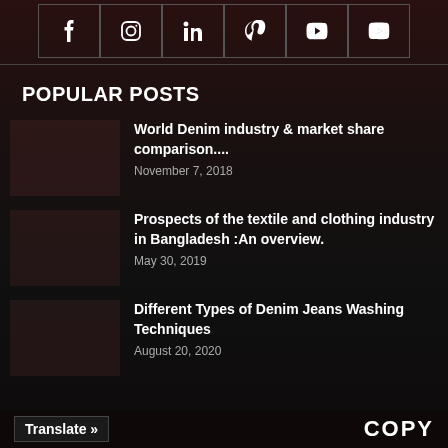[Figure (other): Social media icon buttons row: Facebook, Instagram, LinkedIn, Pinterest, Twitter, YouTube]
POPULAR POSTS
World Denim industry & market share comparison.... — November 7, 2018
Prospects of the textile and clothing industry in Bangladesh :An overview. — May 30, 2019
Different Types of Denim Jeans Washing Techniques — August 20, 2020
Translate »   COPY